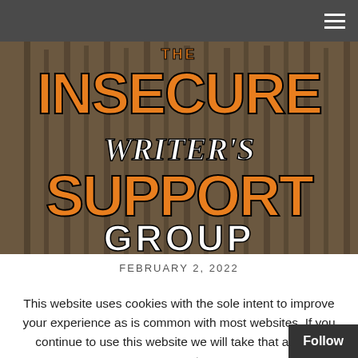Navigation bar with hamburger menu
[Figure (illustration): The Insecure Writer's Support Group logo banner — large orange block letters spelling INSECURE and SUPPORT on top and bottom, with WRITER'S in white script in the middle, and GROUP in white bold text at the bottom, set against a dark sepia background of what appears to be organ pipes or bars.]
FEBRUARY 2, 2022
This website uses cookies with the sole intent to improve your experience as is common with most websites. If you continue to use this website we will take that as your consent.
OK  Reject  Read More  Follow